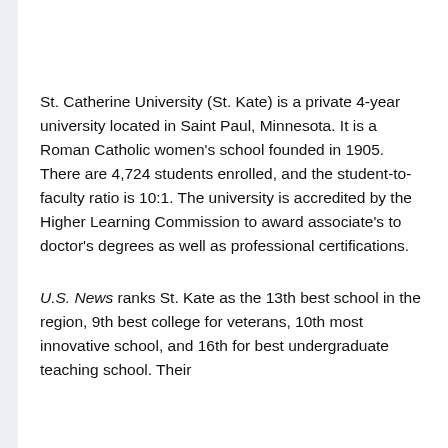St. Catherine University (St. Kate) is a private 4-year university located in Saint Paul, Minnesota. It is a Roman Catholic women's school founded in 1905. There are 4,724 students enrolled, and the student-to-faculty ratio is 10:1. The university is accredited by the Higher Learning Commission to award associate's to doctor's degrees as well as professional certifications.
U.S. News ranks St. Kate as the 13th best school in the region, 9th best college for veterans, 10th most innovative school, and 16th for best undergraduate teaching school. Their